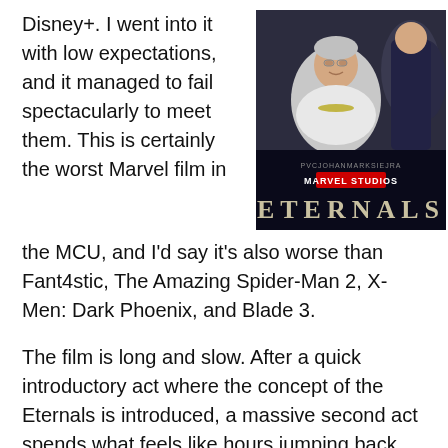Disney+. I went into it with low expectations, and it managed to fail spectacularly to meet them. This is certainly the worst Marvel film in the MCU, and I'd say it's also worse than Fant4stic, The Amazing Spider-Man 2, X-Men: Dark Phoenix, and Blade 3.
[Figure (photo): Movie poster for Marvel Studios Eternals, showing an elderly woman in formal attire with the text 'MARVEL STUDIOS' and 'ETERNALS' overlaid on a dark background.]
The film is long and slow. After a quick introductory act where the concept of the Eternals is introduced, a massive second act spends what feels like hours jumping back and forth between present day and the distant past, introducing the interminable list of characters. None of them are interesting. Their leader (Selma Hyack), who has the power to regenerate, is found dead at the end of the